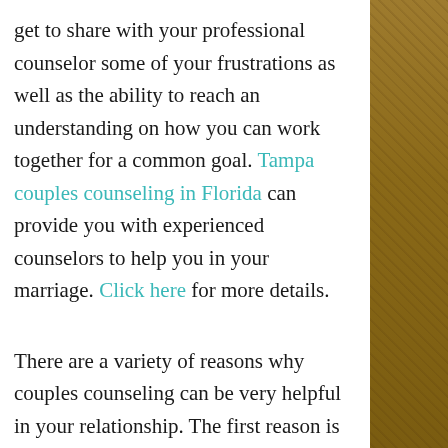get to share with your professional counselor some of your frustrations as well as the ability to reach an understanding on how you can work together for a common goal. Tampa couples counseling in Florida can provide you with experienced counselors to help you in your marriage. Click here for more details.
There are a variety of reasons why couples counseling can be very helpful in your relationship. The first reason is that it allows you both to have the opportunity to speak with your counselor about what is happening in your relationship. In turn, the couple will learn some of the many ways they can change the way they interact with each other in